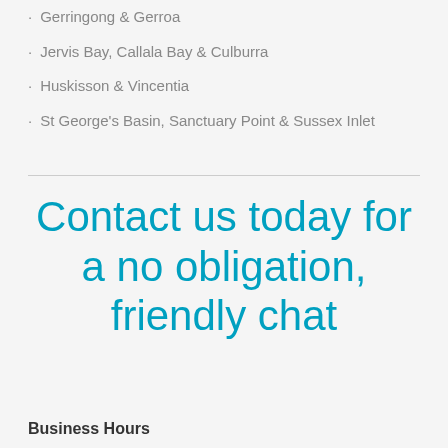Gerringong & Gerroa
Jervis Bay, Callala Bay & Culburra
Huskisson & Vincentia
St George's Basin, Sanctuary Point & Sussex Inlet
Contact us today for a no obligation, friendly chat
Business Hours